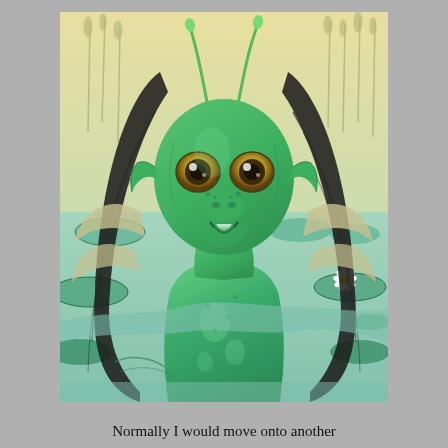[Figure (illustration): A digital illustration of a green, fish-like humanoid creature (swamp creature or mermaid-like being) emerging from water surrounded by lily pads. The creature has large golden eyes, fish-like facial features, antennae, long dark hair with fin-like protrusions, and a green scaly body. The background shows a pale yellow-green sky with reeds/grass, and the water is light teal-green with circular lily pads. A small white water lily flower is visible on the right side.]
Normally I would move onto another